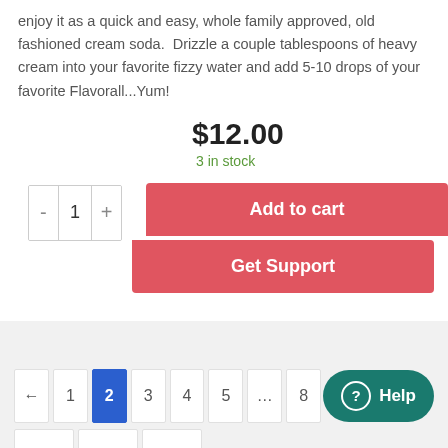enjoy it as a quick and easy, whole family approved, old fashioned cream soda. Drizzle a couple tablespoons of heavy cream into your favorite fizzy water and add 5-10 drops of your favorite Flavorall...Yum!
$12.00
3 in stock
Add to cart
Get Support
← 1 2 3 4 5 ... 8
9 10 →